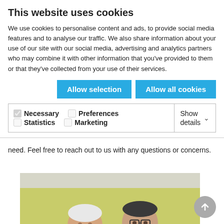This website uses cookies
We use cookies to personalise content and ads, to provide social media features and to analyse our traffic. We also share information about your use of our site with our social media, advertising and analytics partners who may combine it with other information that you've provided to them or that they've collected from your use of their services.
Allow selection | Allow all cookies
Necessary  Preferences  Statistics  Marketing  Show details
need. Feel free to reach out to us with any questions or concerns.
[Figure (photo): Two men standing together and smiling in a room with yellow-green walls. The man on the left is older with white hair wearing a blue shirt; the man on the right is taller, wearing glasses and a dark blazer.]